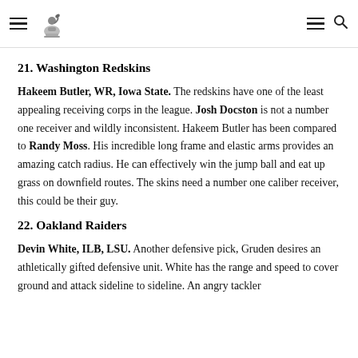[Navigation header with hamburger menu, logo, hamburger menu, search icon]
21. Washington Redskins
Hakeem Butler, WR, Iowa State. The redskins have one of the least appealing receiving corps in the league. Josh Docston is not a number one receiver and wildly inconsistent. Hakeem Butler has been compared to Randy Moss. His incredible long frame and elastic arms provides an amazing catch radius. He can effectively win the jump ball and eat up grass on downfield routes. The skins need a number one caliber receiver, this could be their guy.
22. Oakland Raiders
Devin White, ILB, LSU. Another defensive pick, Gruden desires an athletically gifted defensive unit. White has the range and speed to cover ground and attack sideline to sideline. An angry tackler